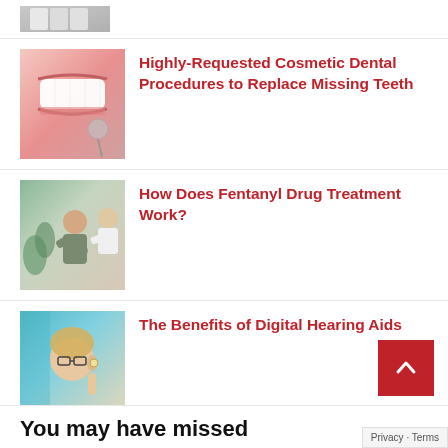[Figure (photo): Partial view of a medical image at top (cropped/stub)]
[Figure (photo): Close-up of a smiling mouth with white teeth and a dental mirror]
Highly-Requested Cosmetic Dental Procedures to Replace Missing Teeth
[Figure (photo): A person sitting across from a therapist or counselor in a consultation setting]
How Does Fentanyl Drug Treatment Work?
[Figure (photo): A woman with glasses inserting a hearing aid into her ear]
The Benefits of Digital Hearing Aids
You may have missed